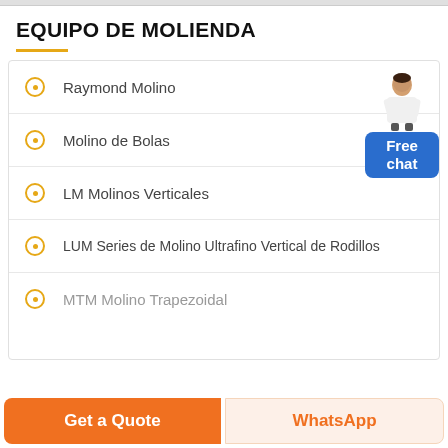EQUIPO DE MOLIENDA
Raymond Molino
Molino de Bolas
LM Molinos Verticales
LUM Series de Molino Ultrafino Vertical de Rodillos
MTM Molino Trapezoidal